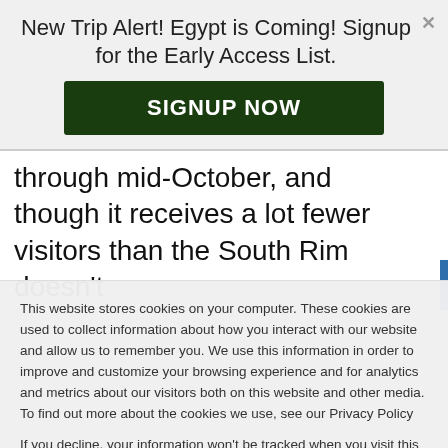New Trip Alert! Egypt is Coming! Signup for the Early Access List.
SIGNUP NOW
through mid-October, and though it receives a lot fewer visitors than the South Rim doesn't
This website stores cookies on your computer. These cookies are used to collect information about how you interact with our website and allow us to remember you. We use this information in order to improve and customize your browsing experience and for analytics and metrics about our visitors both on this website and other media. To find out more about the cookies we use, see our Privacy Policy

If you decline, your information won't be tracked when you visit this website. A single cookie will be used in your browser to remember your preference not to be tracked.
Accept
Decline